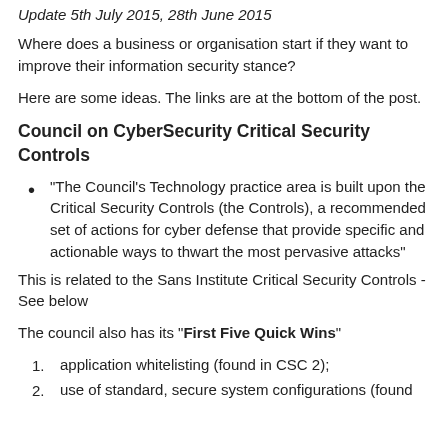Update 5th July 2015, 28th June 2015
Where does a business or organisation start if they want to improve their information security stance?
Here are some ideas. The links are at the bottom of the post.
Council on CyberSecurity Critical Security Controls
"The Council's Technology practice area is built upon the Critical Security Controls (the Controls), a recommended set of actions for cyber defense that provide specific and actionable ways to thwart the most pervasive attacks"
This is related to the Sans Institute Critical Security Controls - See below
The council also has its "First Five Quick Wins"
application whitelisting (found in CSC 2);
use of standard, secure system configurations (found